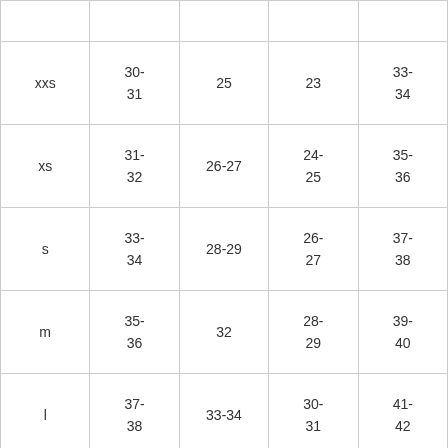|  |  |  |  |  |
| --- | --- | --- | --- | --- |
| xxs | 30-31 | 25 | 23 | 33-34 |
| xs | 31-32 | 26-27 | 24-25 | 35-36 |
| s | 33-34 | 28-29 | 26-27 | 37-38 |
| m | 35-36 | 32 | 28-29 | 39-40 |
| l | 37-38 | 33-34 | 30-31 | 41-42 |